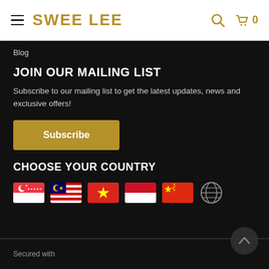SWEE LEE
Blog
JOIN OUR MAILING LIST
Subscribe to our mailing list to get the latest updates, news and exclusive offers!
Subscribe
CHOOSE YOUR COUNTRY
[Figure (illustration): Country flags: Singapore, Malaysia, Vietnam, Indonesia, China, and a globe/world icon]
Secured with